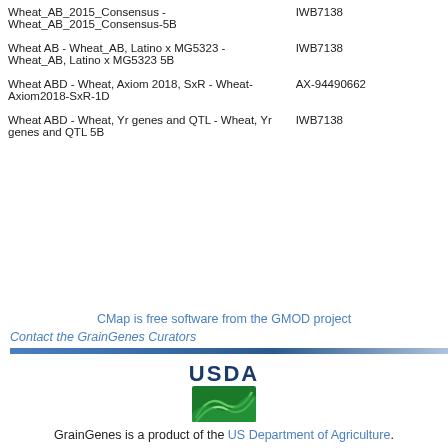| Map | Marker |
| --- | --- |
| Wheat_AB_2015_Consensus - Wheat_AB_2015_Consensus-5B | IWB7138 |
| Wheat AB - Wheat_AB, Latino x MG5323 - Wheat_AB, Latino x MG5323 5B | IWB7138 |
| Wheat ABD - Wheat, Axiom 2018, SxR - Wheat-Axiom2018-SxR-1D | AX-94490662 |
| Wheat ABD - Wheat, Yr genes and QTL - Wheat, Yr genes and QTL 5B | IWB7138 |
CMap is free software from the GMOD project
Contact the GrainGenes Curators
[Figure (logo): USDA logo with green wave emblem and USDA text in dark blue]
GrainGenes is a product of the US Department of Agriculture.